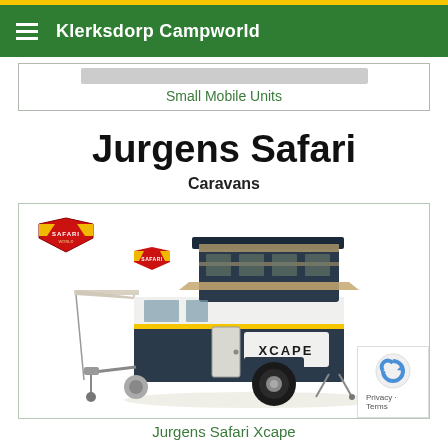Klerksdorp Campworld
Small Mobile Units
Jurgens Safari
Caravans
[Figure (photo): A Jurgens Safari Xcape small caravan/trailer with an awning extended on the left side, a pop-up roof section, XCAPE branding on the body, and the Safari shield logo in the top-left corner of the card.]
Jurgens Safari Xcape